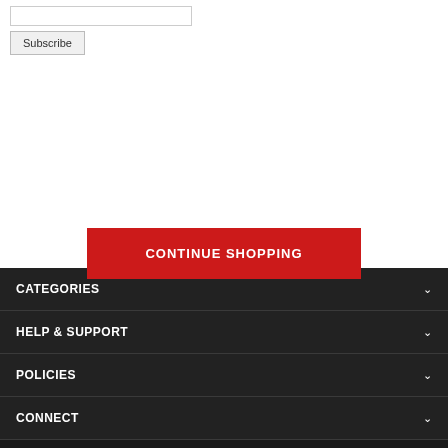[input field]
Subscribe
CONTINUE SHOPPING
CATEGORIES
HELP & SUPPORT
POLICIES
CONNECT